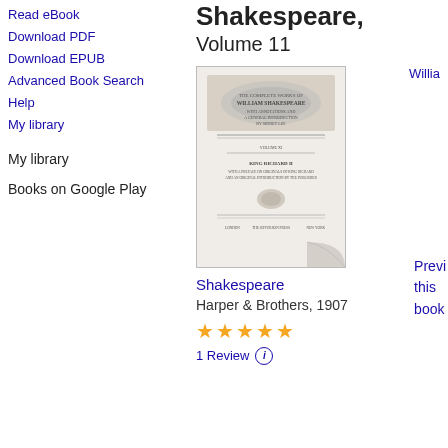Read eBook
Download PDF
Download EPUB
Advanced Book Search
Help
My library
My library
Books on Google Play
Shakespeare, Volume 11
[Figure (photo): Book cover of The Complete Works of William Shakespeare, Volume 11, King Richard II, published by Harper & Brothers, with ornate decorative design]
William
Shakespeare
Harper & Brothers, 1907
★★★★★
1 Review
Preview this book